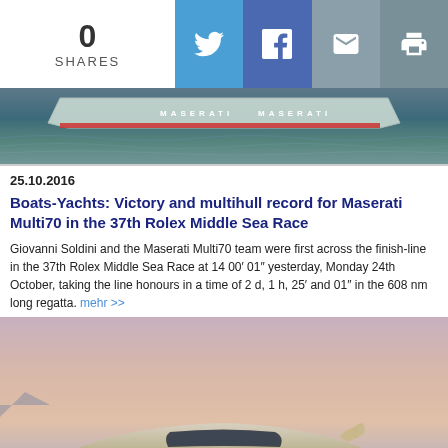0 SHARES [Twitter] [Facebook] [Email] [Print]
[Figure (photo): Top portion of a Maserati racing boat on water, showing the hull with Maserati branding]
25.10.2016
Boats-Yachts: Victory and multihull record for Maserati Multi70 in the 37th Rolex Middle Sea Race
Giovanni Soldini and the Maserati Multi70 team were first across the finish-line in the 37th Rolex Middle Sea Race at 14 00’ 01” yesterday, Monday 24th October, taking the line honours in a time of 2 d, 1 h, 25’ and 01” in the 608 nm long regatta. mehr >>
[Figure (photo): A sleek silver/gold luxury yacht concept design on water at dusk with a pink and purple sky]